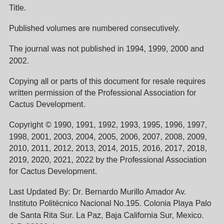Title.
Published volumes are numbered consecutively.
The journal was not published in 1994, 1999, 2000 and 2002.
Copying all or parts of this document for resale requires written permission of the Professional Association for Cactus Development.
Copyright © 1990, 1991, 1992, 1993, 1995, 1996, 1997, 1998, 2001, 2003, 2004, 2005, 2006, 2007, 2008, 2009, 2010, 2011, 2012, 2013, 2014, 2015, 2016, 2017, 2018, 2019, 2020, 2021, 2022 by the Professional Association for Cactus Development.
Last Updated By: Dr. Bernardo Murillo Amador Av. Instituto Politécnico Nacional No.195. Colonia Playa Palo de Santa Rita Sur. La Paz, Baja California Sur, Mexico. C.P. 23096. Last